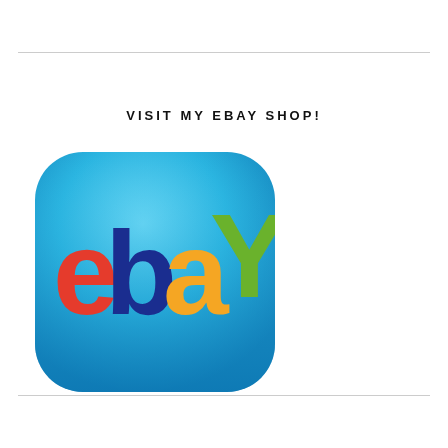VISIT MY EBAY SHOP!
[Figure (logo): eBay app icon — rounded-rectangle with blue gradient background and the eBay logo letters (e in red, b in blue, a in yellow, Y in green)]